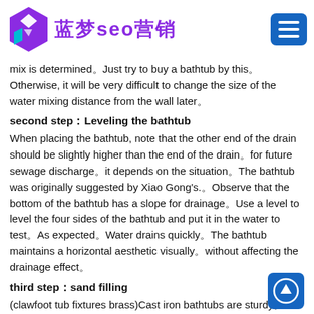蓝梦seo营销
mix is determined。Just try to buy a bathtub by this。Otherwise, it will be very difficult to change the size of the water mixing distance from the wall later。
second step：Leveling the bathtub
When placing the bathtub, note that the other end of the drain should be slightly higher than the end of the drain。for future sewage discharge。it depends on the situation。The bathtub was originally suggested by Xiao Gong's.。Observe that the bottom of the bathtub has a slope for drainage。Use a level to level the four sides of the bathtub and put it in the water to test。As expected。Water drains quickly。The bathtub maintains a horizontal aesthetic visually。without affecting the drainage effect。
third step：sand filling
(clawfoot tub fixtures brass)Cast iron bathtubs are sturdy。But its thermal conductivity is very fast。medium river sand should be used。to the bottom of the bathtub first。this is needed。It aids in heat...